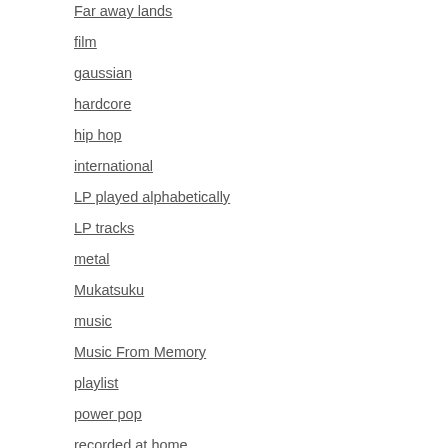Far away lands
film
gaussian
hardcore
hip hop
international
LP played alphabetically
LP tracks
metal
Mukatsuku
music
Music From Memory
playlist
power pop
recorded at home
reggae
rock
RSD
Soul is my salvation